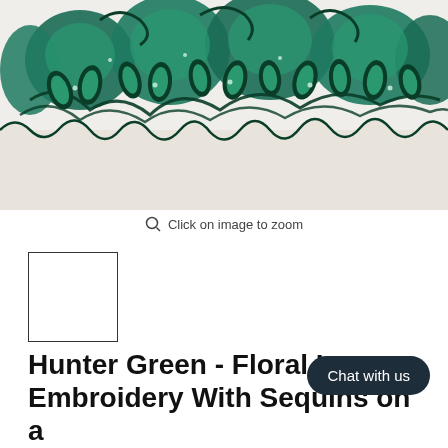[Figure (photo): Close-up photo of hunter green floral lace embroidery with sequins on a light/white background fabric. The embroidery features intricate dark green thread with scalloped edge and floral/leaf patterns.]
Click on image to zoom
[Figure (photo): Small thumbnail of the same hunter green floral lace embroidery image]
Hunter Green - Floral L..., Embroidery With Sequins on a